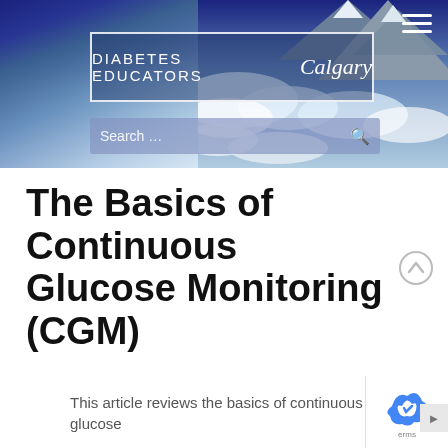[Figure (screenshot): Diabetes Educators Calgary website header with mountain and clouds background, showing logo in white-bordered box, hamburger menu icon, and search bar]
The Basics of Continuous Glucose Monitoring (CGM)
This article reviews the basics of continuous glucose